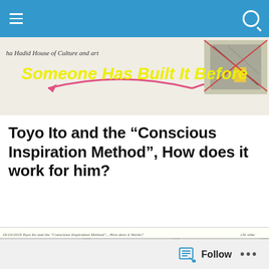Someone Has Built It Before — blog header with navigation
[Figure (screenshot): Top strip showing a hand-drawn sketch with handwritten text 'ha Hadid House of Culture and art' and a colored architectural drawing, with pink arrow curves and yellow text overlay 'Someone Has Built It Before']
Toyo Ito and the “Conscious Inspiration Method”, How does it work for him?
[Figure (photo): Notebook page sketch showing: header '18/10/2018 Toyo Ito and the "Conscious Inspiration Method"... How does it Works? 13e siike', a cell labeled '"Knowledge"', a drawing of Mosque of Cordoba with horseshoe arch, a plus symbol, and a photo of Islamic Pattern]
Follow •••